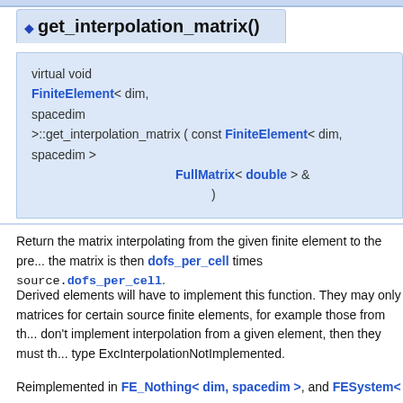◆ get_interpolation_matrix()
virtual void FiniteElement< dim, spacedim >::get_interpolation_matrix ( const FiniteElement< dim, spacedim > FullMatrix< double > & )
Return the matrix interpolating from the given finite element to the present one. The size of the matrix is then dofs_per_cell times source.dofs_per_cell.
Derived elements will have to implement this function. They may only provide interpolation matrices for certain source finite elements, for example those from the same family. If they don't implement interpolation from a given element, then they must throw an exception of type ExcInterpolationNotImplemented.
Reimplemented in FE_Nothing< dim, spacedim >, and FESystem<